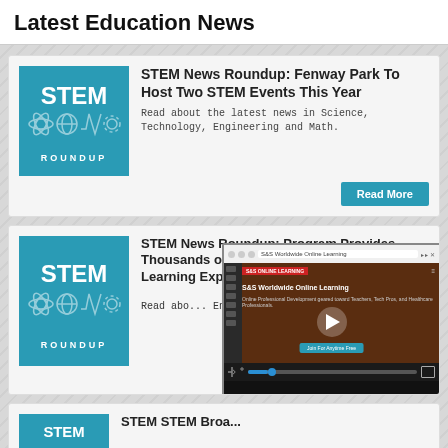Latest Education News
STEM News Roundup: Fenway Park To Host Two STEM Events This Year
Read about the latest news in Science, Technology, Engineering and Math.
Read More
STEM News Roundup: Program Provides Thousands of Students with Hands-On STEM Learning Expe...
Read about... Engineering and Math.
[Figure (screenshot): S&S Worldwide Online Learning website screenshot with video player showing dark background, play button, progress bar, and controls. Video title reads 'S&S Worldwide Online Learning'.]
STEM STEM Broa...